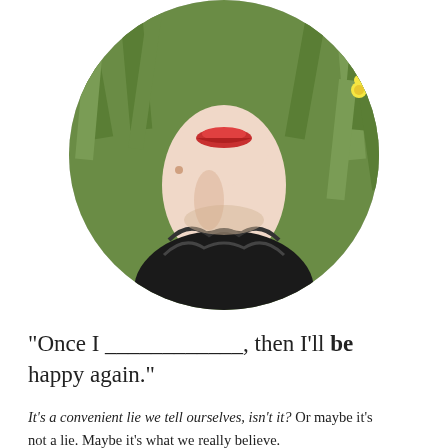[Figure (photo): Circular cropped portrait photo of a woman with red lipstick, pale skin, wearing a black top, lying in green grass with a yellow flower visible. Only chin, neck, and upper chest are fully visible.]
"Once I ____________, then I'll be happy again."
It's a convenient lie we tell ourselves, isn't it? Or maybe it's not a lie. Maybe it's what we really believe.
Hi, I'm Sahar.
I've been CHOOSING BEAUTY every day since